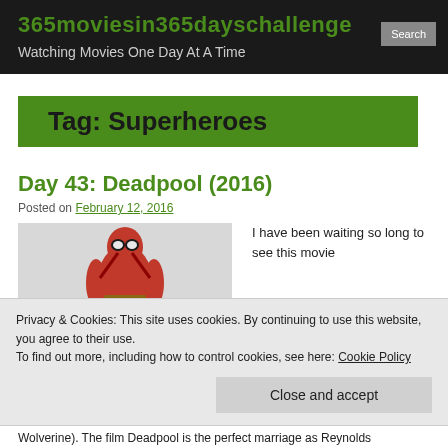365moviesin365dayschallenge
Watching Movies One Day At A Time
Tag: Superheroes
Day 43: Deadpool (2016)
Posted on February 12, 2016
[Figure (photo): Deadpool character standing with BAD ASS. text at bottom]
I have been waiting so long to see this movie
Privacy & Cookies: This site uses cookies. By continuing to use this website, you agree to their use.
To find out more, including how to control cookies, see here: Cookie Policy
Close and accept
Wolverine). The film Deadpool is the perfect marriage as Reynolds